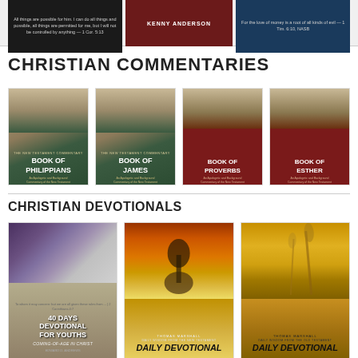[Figure (photo): Three partially visible book covers in a row: black cover with white text quote, dark red cover with author name, dark blue cover with white text quote]
CHRISTIAN COMMENTARIES
[Figure (photo): Book cover: Book of Philippians - dark green with ancient skyline illustration]
[Figure (photo): Book cover: Book of James - dark green with ancient skyline illustration]
[Figure (photo): Book cover: Book of Proverbs - dark red with ancient skyline illustration]
[Figure (photo): Book cover: Book of Esther - dark red with ancient skyline illustration]
CHRISTIAN DEVOTIONALS
[Figure (photo): Book cover: 40 Days Devotional for Youths - Coming-of-Age in Christ by Edward D. Andrews, light cover with youth legs photo]
[Figure (photo): Book cover: Daily Devotional from the New Testament by Thomas Marshall, orange sunset with tree silhouette]
[Figure (photo): Book cover: Daily Devotional from the Old Testament by Thomas Marshall, golden wheat field]